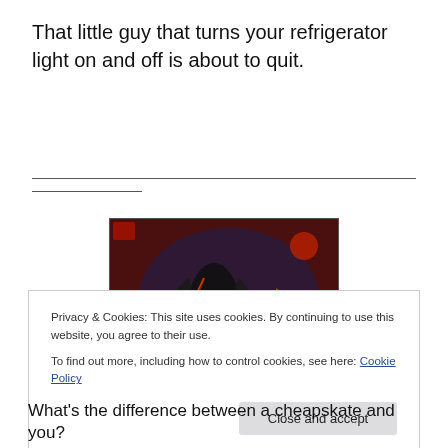That little guy that turns your refrigerator light on and off is about to quit.
[Figure (illustration): Dark fantasy illustration of a shadowy archer figure drawing a bow against a red and dark background]
Privacy & Cookies: This site uses cookies. By continuing to use this website, you agree to their use.
To find out more, including how to control cookies, see here: Cookie Policy
Close and accept
What's the difference between a cheapskate and you?